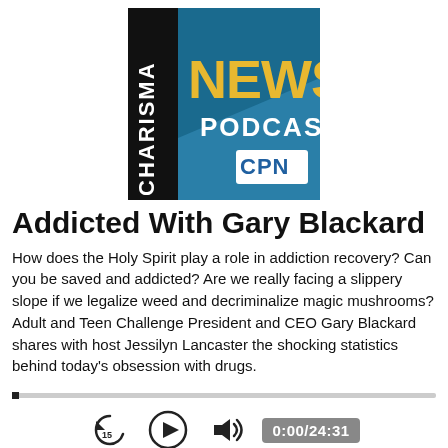[Figure (logo): Charisma News Podcast logo — square image with black left bar showing 'CHARISMA' vertically in white, and teal/blue right section with 'NEWS' in large yellow text, 'PODCAST' in white below, and a white box with 'CPN' in blue at bottom right.]
Addicted With Gary Blackard
How does the Holy Spirit play a role in addiction recovery? Can you be saved and addicted? Are we really facing a slippery slope if we legalize weed and decriminalize magic mushrooms? Adult and Teen Challenge President and CEO Gary Blackard shares with host Jessilyn Lancaster the shocking statistics behind today's obsession with drugs.
[Figure (screenshot): Audio player controls: progress bar at 0, skip-back-15 icon, play button circle icon, volume/speaker icon, time display showing 0:00/24:31]